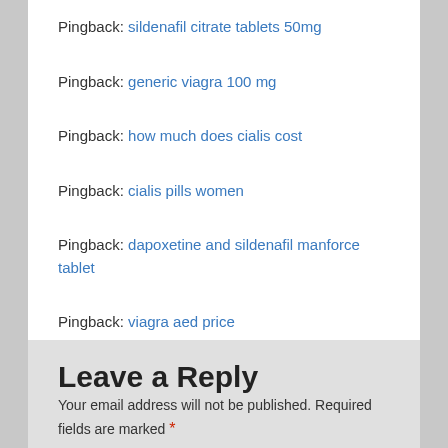Pingback: sildenafil citrate tablets 50mg
Pingback: generic viagra 100 mg
Pingback: how much does cialis cost
Pingback: cialis pills women
Pingback: dapoxetine and sildenafil manforce tablet
Pingback: viagra aed price
Pingback: buy viagra russia
Leave a Reply
Your email address will not be published. Required fields are marked *